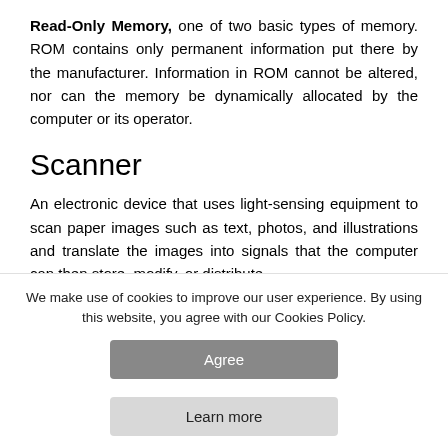Read-Only Memory, one of two basic types of memory. ROM contains only permanent information put there by the manufacturer. Information in ROM cannot be altered, nor can the memory be dynamically allocated by the computer or its operator.
Scanner
An electronic device that uses light-sensing equipment to scan paper images such as text, photos, and illustrations and translate the images into signals that the computer can then store, modify, or distribute.
We make use of cookies to improve our user experience. By using this website, you agree with our Cookies Policy.